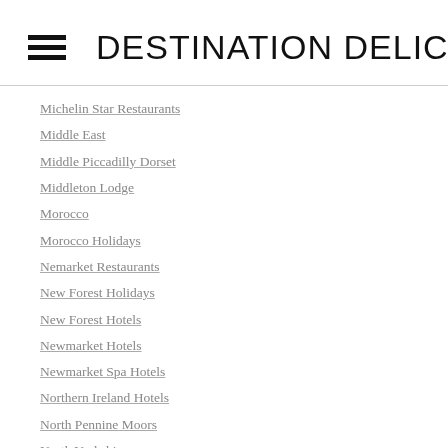DESTINATION DELICIOUS
Michelin Star Restaurants
Middle East
Middle Piccadilly Dorset
Middleton Lodge
Morocco
Morocco Holidays
Nemarket Restaurants
New Forest Holidays
New Forest Hotels
Newmarket Hotels
Newmarket Spa Hotels
Northern Ireland Hotels
North Pennine Moors
North Yorkshire
North Yorkshire Luxury Accommodation
North Yorkshire Restaurants
North Yorkshire Spa Hotels
Oman